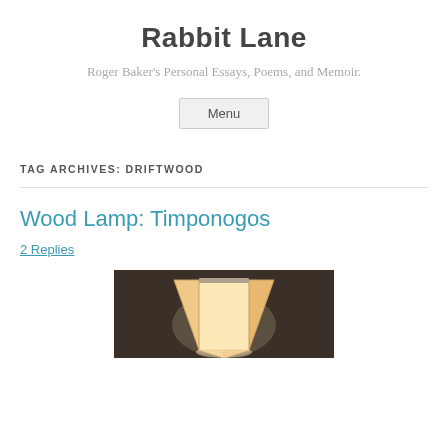Rabbit Lane
Roger Baker's Personal Essays, Poems, and Memoir.
Menu
TAG ARCHIVES: DRIFTWOOD
Wood Lamp: Timponogos
2 Replies
[Figure (photo): Photo of a lamp shade with warm glowing light against a dark brown background, partially visible.]